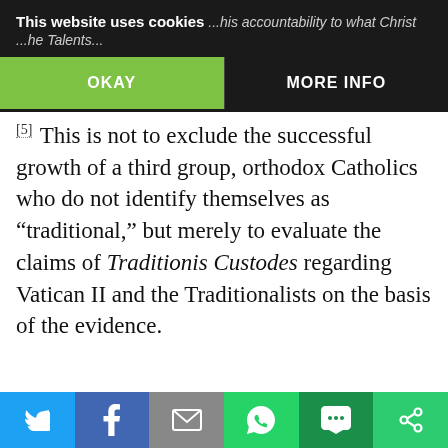[Figure (screenshot): Cookie consent banner with dark background, showing partial text 'This website uses cookies ...his accountability to what Christ ...he Talents...' and two buttons: 'OKAY' (green) and 'MORE INFO' (dark)]
[5] This is not to exclude the successful growth of a third group, orthodox Catholics who do not identify themselves as "traditional," but merely to evaluate the claims of Traditionis Custodes regarding Vatican II and the Traditionalists on the basis of the evidence.
[Figure (other): Green Print Friendly button with printer icon]
[Figure (photo): Circular author profile photo showing a man with glasses and dark hair, partially visible in a light-bordered box]
[Figure (other): Social sharing bar at bottom with Twitter, Facebook, Email, WhatsApp, SMS, and other share buttons]